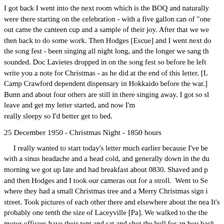I got back I went into the next room which is the BOQ and naturally were there starting on the celebration - with a five gallon can of "one out came the canteen cup and a sample of their joy. After that we we then back to do some work. Then Hodges [Escue] and I went next do the song fest - been singing all night long, and the longer we sang th sounded. Doc Lavietes dropped in on the song fest so before he left write you a note for Christmas - as he did at the end of this letter. [L Camp Crawford dependent dispensary in Hokkaido before the war.] Bunn and about four others are still in there singing away. I got so sl leave and get my letter started, and now I'm really sleepy so I'd better get to bed.
25 December 1950 - Christmas Night - 1850 hours
I really wanted to start today's letter much earlier because I've be with a sinus headache and a head cold, and generally down in the du morning we got up late and had breakfast about 0830. Shaved and p and then Hodges and I took our cameras out for a stroll. Went to Se where they had a small Christmas tree and a Merry Christmas sign i street. Took pictures of each other there and elsewhere about the nea It's probably one tenth the size of Laceyville [Pa]. We walked to the the motor officers have their tent and sat and shot the bull for an hou back here to the CP. About 1300 Hodges and I went out to [church] s were held in front of the building by Chaplain [Captain Michael E.] came nap time and finally our big fat holiday dinner at 1600. And w